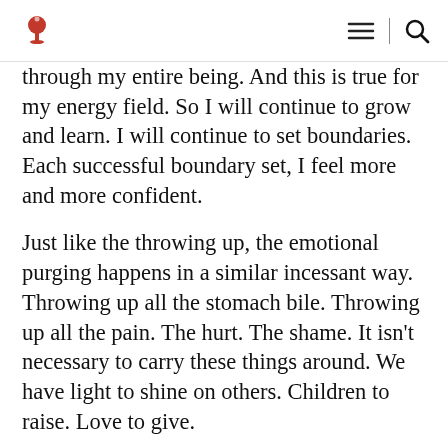[Logo] [Menu icon] | [Search icon]
through my entire being. And this is true for my energy field. So I will continue to grow and learn. I will continue to set boundaries. Each successful boundary set, I feel more and more confident.
Just like the throwing up, the emotional purging happens in a similar incessant way. Throwing up all the stomach bile. Throwing up all the pain. The hurt. The shame. It isn't necessary to carry these things around. We have light to shine on others. Children to raise. Love to give.
Rhiannon was once again strapped with finding a new daycare provider. Once again, she felt she had been blindsided and she